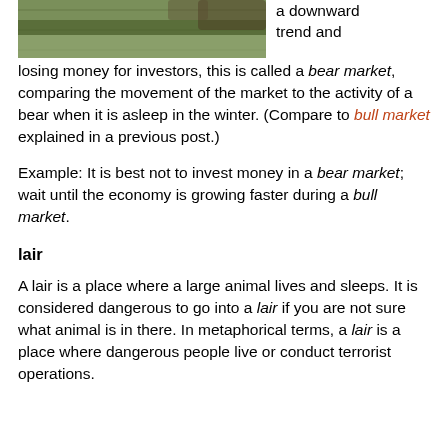[Figure (photo): Partial photo of a bear in green grass/foliage, cropped at the top of the page]
a downward trend and losing money for investors, this is called a bear market, comparing the movement of the market to the activity of a bear when it is asleep in the winter. (Compare to bull market explained in a previous post.)
Example: It is best not to invest money in a bear market; wait until the economy is growing faster during a bull market.
lair
A lair is a place where a large animal lives and sleeps. It is considered dangerous to go into a lair if you are not sure what animal is in there. In metaphorical terms, a lair is a place where dangerous people live or conduct terrorist operations.